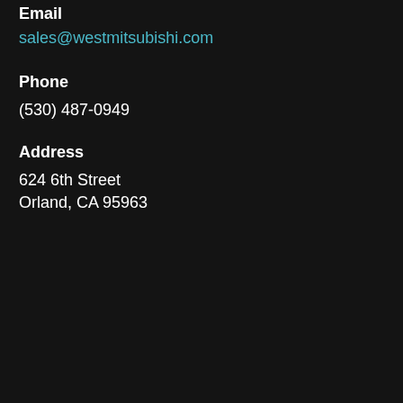Email
sales@westmitsubishi.com
Phone
(530) 487-0949
Address
624 6th Street
Orland, CA 95963